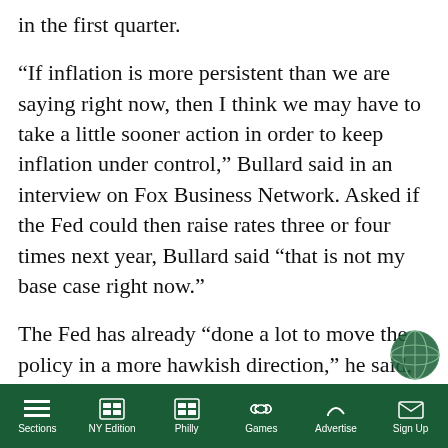in the first quarter.
“If inflation is more persistent than we are saying right now, then I think we may have to take a little sooner action in order to keep inflation under control,” Bullard said in an interview on Fox Business Network. Asked if the Fed could then raise rates three or four times next year, Bullard said “that is not my base case right now.”
The Fed has already “done a lot to move the policy in a more hawkish direction,” he said, with the Fed’s plan to pare its asset purchases, announced last week, starting earlier and projected to end sooner than had be…
Sections   NY Edition   Philly   Games   Advertise   Sign Up